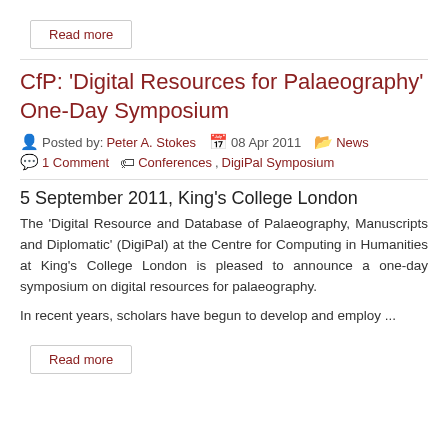Read more
CfP: 'Digital Resources for Palaeography' One-Day Symposium
Posted by: Peter A. Stokes  08 Apr 2011  News  1 Comment  Conferences, DigiPal Symposium
5 September 2011, King's College London
The 'Digital Resource and Database of Palaeography, Manuscripts and Diplomatic' (DigiPal) at the Centre for Computing in Humanities at King's College London is pleased to announce a one-day symposium on digital resources for palaeography.
In recent years, scholars have begun to develop and employ ...
Read more